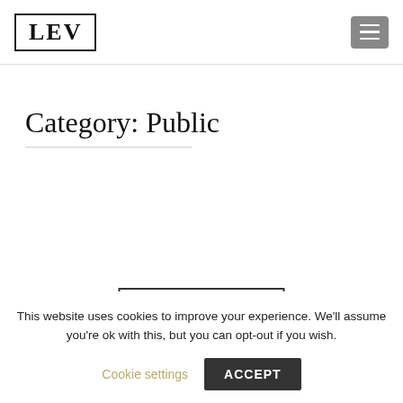LEV
Category: Public
[Figure (logo): Partial view of LEV logo box at bottom of page content area]
This website uses cookies to improve your experience. We'll assume you're ok with this, but you can opt-out if you wish.
Cookie settings   ACCEPT